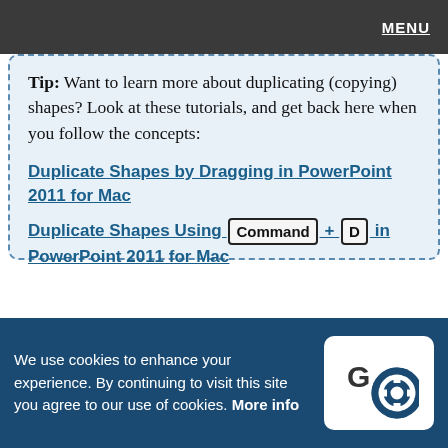MENU
Tip: Want to learn more about duplicating (copying) shapes? Look at these tutorials, and get back here when you follow the concepts:
Duplicate Shapes by Dragging in PowerPoint 2011 for Mac
Duplicate Shapes Using Command + D in PowerPoint 2011 for Mac
[Figure (screenshot): Screenshot of PowerPoint slide area with vertical teal guide lines and a small green circle anchor point visible]
We use cookies to enhance your experience. By continuing to visit this site you agree to our use of cookies. More info